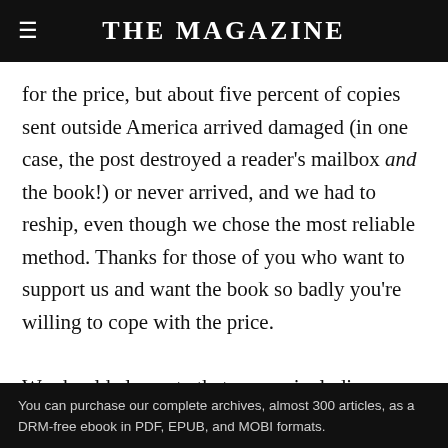THE MAGAZINE
for the price, but about five percent of copies sent outside America arrived damaged (in one case, the post destroyed a reader’s mailbox and the book!) or never arrived, and we had to reship, even though we chose the most reliable method. Thanks for those of you who want to support us and want the book so badly you’re willing to cope with the price.

We should also note that we are including a package of our Year One (shipped immediately on the campaign’s conclusion) and Year Two
You can purchase our complete archives, almost 300 articles, as a DRM-free ebook in PDF, EPUB, and MOBI formats.